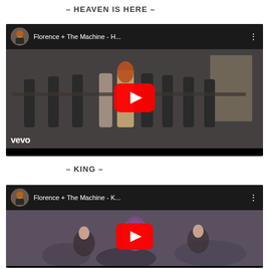– HEAVEN IS HERE –
[Figure (screenshot): YouTube video thumbnail for Florence + The Machine - H... (Heaven Is Here) with Vevo branding. Shows women with outstretched arms, red YouTube play button overlay.]
– KING –
[Figure (screenshot): YouTube video thumbnail for Florence + The Machine - K... (King) showing Florence with purple head covering, red YouTube play button overlay.]